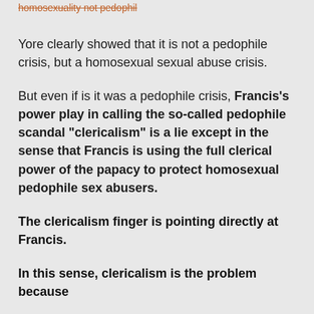homosexuality not pedophil
Yore clearly showed that it is not a pedophile crisis, but a homosexual sexual abuse crisis.
But even if is it was a pedophile crisis, Francis's power play in calling the so-called pedophile scandal "clericalism" is a lie except in the sense that Francis is using the full clerical power of the papacy to protect homosexual pedophile sex abusers.
The clericalism finger is pointing directly at Francis.
In this sense, clericalism is the problem because